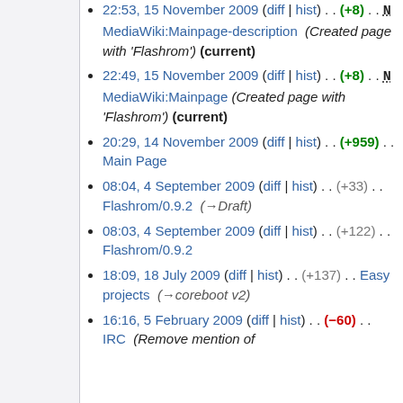22:53, 15 November 2009 (diff | hist) . . (+8) . . N MediaWiki:Mainpage-description (Created page with 'Flashrom') (current)
22:49, 15 November 2009 (diff | hist) . . (+8) . . N MediaWiki:Mainpage (Created page with 'Flashrom') (current)
20:29, 14 November 2009 (diff | hist) . . (+959) . . Main Page
08:04, 4 September 2009 (diff | hist) . . (+33) . . Flashrom/0.9.2 (→Draft)
08:03, 4 September 2009 (diff | hist) . . (+122) . . Flashrom/0.9.2
18:09, 18 July 2009 (diff | hist) . . (+137) . . Easy projects (→coreboot v2)
16:16, 5 February 2009 (diff | hist) . . (−60) . . IRC (Remove mention of